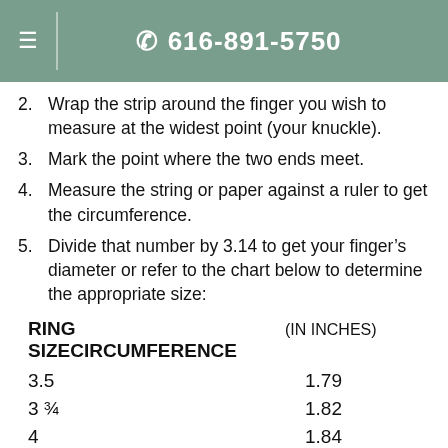≡  616-891-5750
2. Wrap the strip around the finger you wish to measure at the widest point (your knuckle).
3. Mark the point where the two ends meet.
4. Measure the string or paper against a ruler to get the circumference.
5. Divide that number by 3.14 to get your finger's diameter or refer to the chart below to determine the appropriate size:
| RING SIZE | CIRCUMFERENCE (IN INCHES) |
| --- | --- |
| 3.5 | 1.79 |
| 3 ¾ | 1.82 |
| 4 | 1.84 |
| 4 ¼ | 1.87 |